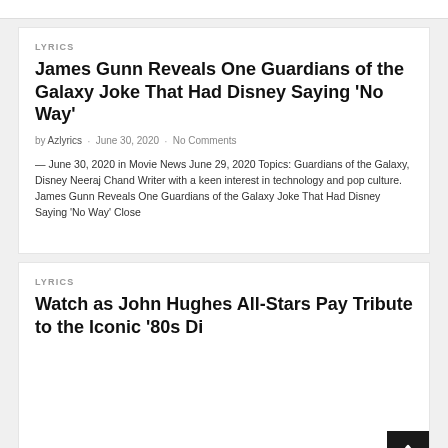LYRICS
James Gunn Reveals One Guardians of the Galaxy Joke That Had Disney Saying ‘No Way’
by Azlyrics • June 30, 2020 • No Comments
— June 30, 2020 in Movie News June 29, 2020 Topics: Guardians of the Galaxy, Disney Neeraj Chand Writer with a keen interest in technology and pop culture. James Gunn Reveals One Guardians of the Galaxy Joke That Had Disney Saying ‘No Way’ Close
LYRICS
Watch as John Hughes All-Stars Pay Tribute to the Iconic ‘80s Di